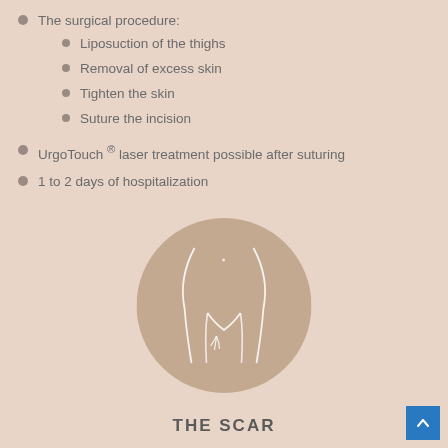The surgical procedure:
Liposuction of the thighs
Removal of excess skin
Tighten the skin
Suture the incision
UrgoTouch ® laser treatment possible after suturing
1 to 2 days of hospitalization
[Figure (illustration): A circular illustration with a brownish-taupe background showing a line drawing of the lower torso and upper thighs with scar lines marked in white]
THE SCAR